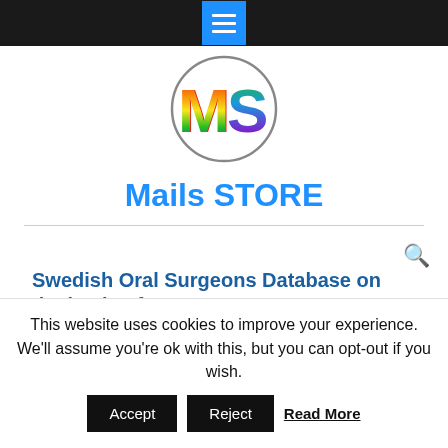Mails STORE - navigation bar with hamburger menu
[Figure (logo): Circular logo with colorful rainbow 'MS' letters inside a grey circle border]
Mails STORE
Swedish Oral Surgeons Database on the basis of:
| Geography | Gender | Medical Institution |
| --- | --- | --- |
This website uses cookies to improve your experience. We'll assume you're ok with this, but you can opt-out if you wish.
Accept | Reject | Read More